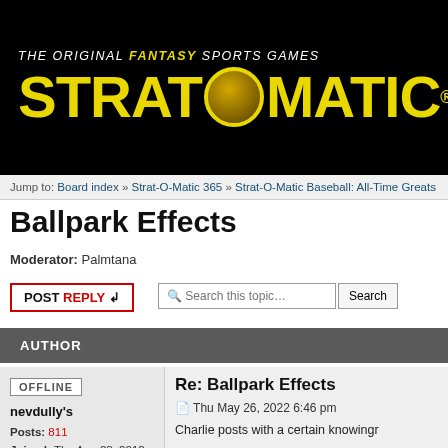[Figure (logo): Strat-O-Matic logo with black background, yellow text and tagline 'THE ORIGINAL FANTASY SPORTS GAMES']
Jump to: Board index » Strat-O-Matic 365 » Strat-O-Matic Baseball: All-Time Greats
Ballpark Effects
Moderator: Palmtana
POST REPLY  Search this topic…  Search
| AUTHOR |
| --- |
| OFFLINE | Re: Ballpark Effects | Thu May 26, 2022 6:46 pm | nevdully's | Posts: 811 | Joined: Thu Aug 23, 2012 4:32 pm | Charlie posts with a certain knowingr... | How about not anecdotal for the peo... total transparency, it's our secret sau... | Or from their top programmer for ma... don't know why this other feature wa... |
OFFLINE
nevdully's
Posts: 811
Joined: Thu Aug 23, 2012 4:32 pm
Re: Ballpark Effects
Thu May 26, 2022 6:46 pm
Charlie posts with a certain knowingr
How about not anecdotal for the peo total transparency, it's our secret sau
Or from their top programmer for ma don't know why this other feature wa